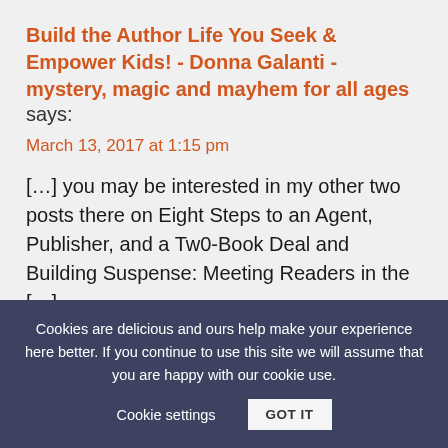Build the Author Life You Seek & Empower Kids! - Donna Galanti - mystery, magic and mayhem for all ages says:
March 13, 2017 at 1:15 pm
[…] you may be interested in my other two posts there on Eight Steps to an Agent, Publisher, and a Tw0-Book Deal and Building Suspense: Meeting Readers in the […]
Cookies are delicious and ours help make your experience here better. If you continue to use this site we will assume that you are happy with our cookie use.      Cookie settings      GOT IT